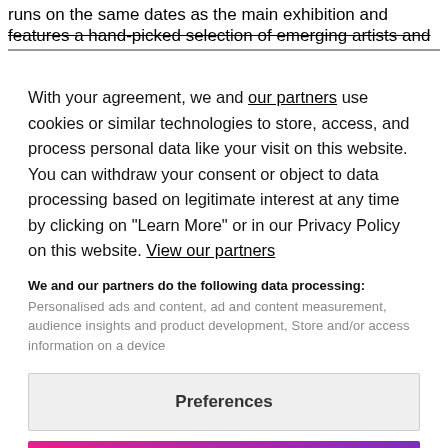runs on the same dates as the main exhibition and features a hand-picked selection of emerging artists and
With your agreement, we and our partners use cookies or similar technologies to store, access, and process personal data like your visit on this website. You can withdraw your consent or object to data processing based on legitimate interest at any time by clicking on "Learn More" or in our Privacy Policy on this website. View our partners
We and our partners do the following data processing: Personalised ads and content, ad and content measurement, audience insights and product development, Store and/or access information on a device
Preferences
AGREE